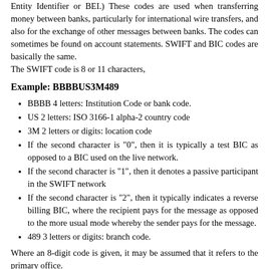Entity Identifier or BEI.) These codes are used when transferring money between banks, particularly for international wire transfers, and also for the exchange of other messages between banks. The codes can sometimes be found on account statements. SWIFT and BIC codes are basically the same.
The SWIFT code is 8 or 11 characters,
Example: BBBBUS3M489
BBBB 4 letters: Institution Code or bank code.
US 2 letters: ISO 3166-1 alpha-2 country code
3M 2 letters or digits: location code
If the second character is "0", then it is typically a test BIC as opposed to a BIC used on the live network.
If the second character is "1", then it denotes a passive participant in the SWIFT network
If the second character is "2", then it typically indicates a reverse billing BIC, where the recipient pays for the message as opposed to the more usual mode whereby the sender pays for the message.
489 3 letters or digits: branch code.
Where an 8-digit code is given, it may be assumed that it refers to the primary office.
SWIFT Code Bank